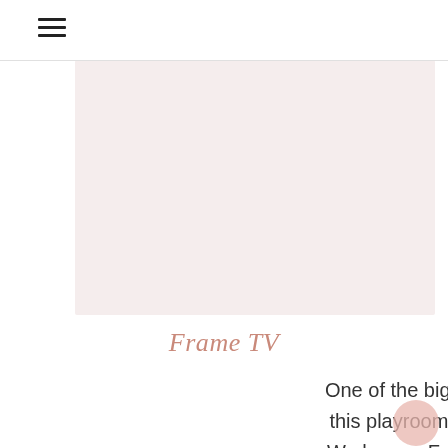≡
[Figure (other): Blank pinkish-beige image placeholder area with three dots above indicating a carousel or slideshow]
Frame TV
One of the bigger splurge items in this playroom was the Frame TV. We have a Frame TV in our living room and LOVE it, so we decided to splurge and really complete the